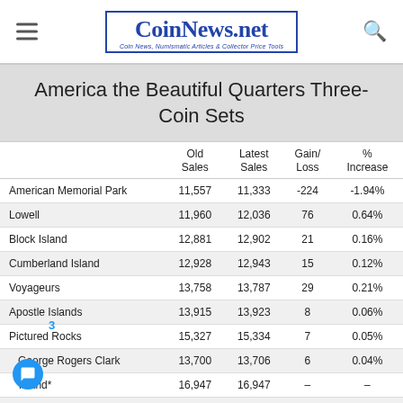CoinNews.net — Coin News, Numismatic Articles & Collector Price Tools
America the Beautiful Quarters Three-Coin Sets
|  | Old Sales | Latest Sales | Gain/Loss | % Increase |
| --- | --- | --- | --- | --- |
| American Memorial Park | 11,557 | 11,333 | -224 | -1.94% |
| Lowell | 11,960 | 12,036 | 76 | 0.64% |
| Block Island | 12,881 | 12,902 | 21 | 0.16% |
| Cumberland Island | 12,928 | 12,943 | 15 | 0.12% |
| Voyageurs | 13,758 | 13,787 | 29 | 0.21% |
| Apostle Islands | 13,915 | 13,923 | 8 | 0.06% |
| Pictured Rocks | 15,327 | 15,334 | 7 | 0.05% |
| George Rogers Clark | 13,700 | 13,706 | 6 | 0.04% |
| ... Island* | 16,947 | 16,947 | – | – |
| Ozark Riverways | 14,500 | 14,503 | 3 | 0.02% |